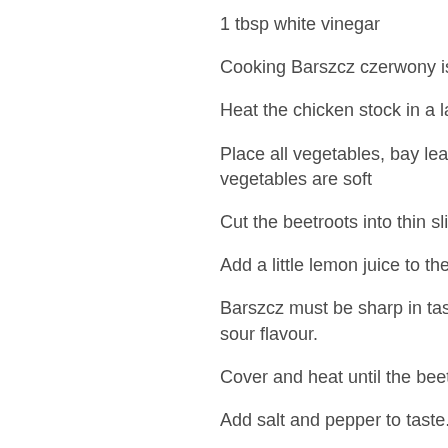1 tbsp white vinegar
Cooking Barszcz czerwony is quick and
Heat the chicken stock in a large pan.
Place all vegetables, bay leaf, and allspic… vegetables are soft
Cut the beetroots into thin slices and plac…
Add a little lemon juice to the stock to he…
Barszcz must be sharp in taste so add 2… sour flavour.
Cover and heat until the beetroot is soft.
Add salt and pepper to taste.
Barszcz czerwony should be served with…
Barszcz czerwony is one of a number of…